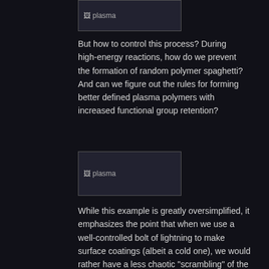[Figure (photo): Plasma image placeholder at top]
But how to control this process? During high-energy reactions, how do we prevent the formation of random polymer spaghetti? And can we figure out the rules for forming better defined plasma polymers with increased functional group retention?
[Figure (photo): Plasma image placeholder in middle]
While this example is greatly oversimplified, it emphasizes the point that when we use a well-controlled bolt of lightning to make surface coatings (albeit a cold one), we would rather have a less chaotic "scrambling" of the chemical in favour of more ordered and controlled deposits. The whole purpose of this is so that we can then use the intact bromine motif to perform other chemical reactions off of the surface.
I wrote about our ARC Discovery Grant "Order from